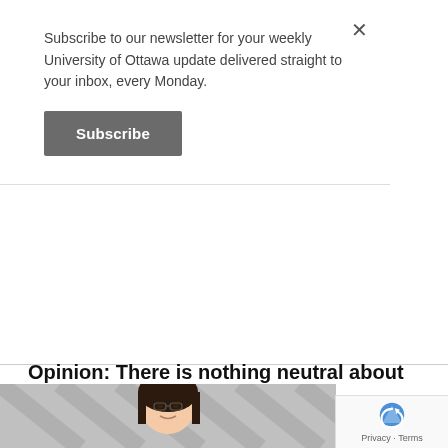Subscribe to our newsletter for your weekly University of Ottawa update delivered straight to your inbox, every Monday.
Subscribe
Opinion: There is nothing neutral about a religious neutrality bill
Sanjida Rashid   2022/02/03, 1:44 pm
Bill 21 is not the great equalizer it claims to be. How could it be, when all people are not being affected equally by it? Worse, when it infringes on citizens' guaranteed Canadian fundamental freedoms?
[Figure (illustration): Illustrated portrait of a person with dark hair against a grey diagonal striped background]